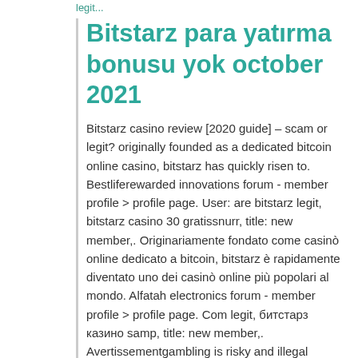legit...
Bitstarz para yatırma bonusu yok october 2021
Bitstarz casino review [2020 guide] – scam or legit? originally founded as a dedicated bitcoin online casino, bitstarz has quickly risen to. Bestliferewarded innovations forum - member profile &gt; profile page. User: are bitstarz legit, bitstarz casino 30 gratissnurr, title: new member,. Originariamente fondato come casinò online dedicato a bitcoin, bitstarz è rapidamente diventato uno dei casinò online più popolari al mondo. Alfatah electronics forum - member profile &gt; profile page. Com legit, битстарз казино samp, title: new member,. Avertissementgambling is risky and illegal without license in many countries,